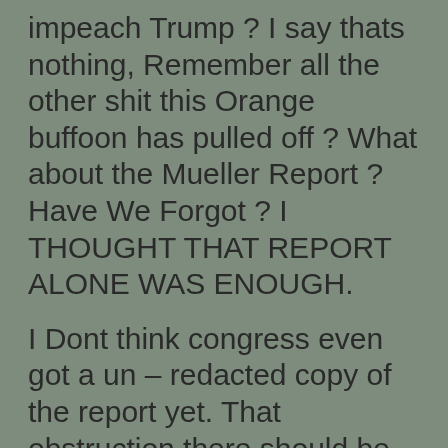impeach Trump ? I say thats nothing, Remember all the other shit this Orange buffoon has pulled off ? What about the Mueller Report ? Have We Forgot ? I THOUGHT THAT REPORT ALONE WAS ENOUGH.
I Dont think congress even got a un – redacted copy of the report yet. That obstruction there should be enough. Trump has obstructed congress every since he took office.
How about diverting our military to land